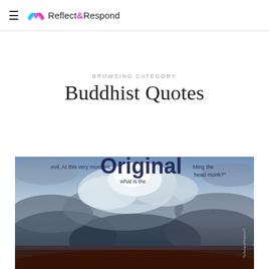Reflect&Respond
BROWSING CATEGORY
Buddhist Quotes
[Figure (photo): A dramatic cloudy sky image used as a featured article thumbnail for Buddhist Quotes category. Text overlay reads: 'evil. At this very moment, Original Ming the head monk?' and 'what is the']